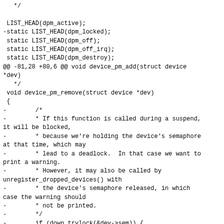Code diff showing device power management C source changes including LIST_HEAD declarations, hunk header, device_pm_remove function, and comments about suspend/semaphore deadlock handling.